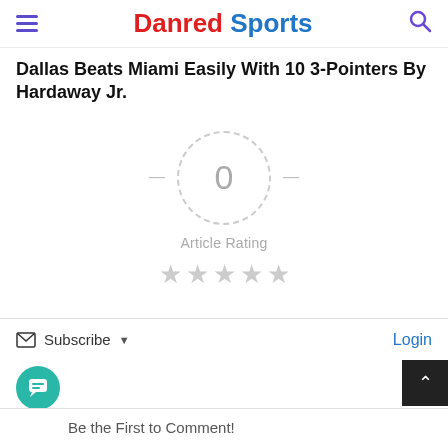Danred Sports
Dallas Beats Miami Easily With 10 3-Pointers By Hardaway Jr.
[Figure (infographic): Article rating widget: a dashed circle with the number 0 inside, flanked by dashes, with the label 'Article Rating' below and five empty grey stars beneath that.]
Subscribe  Login
Be the First to Comment!